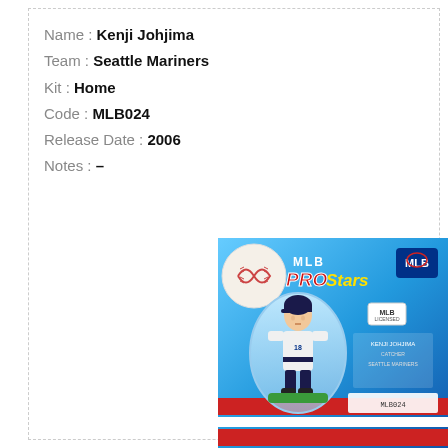Name : Kenji Johjima
Team : Seattle Mariners
Kit : Home
Code : MLB024
Release Date : 2006
Notes : –
[Figure (photo): MLB Pro Stars collectible figure of Kenji Johjima in blister packaging. Blue card background with baseball graphic, MLB logo, and red/white stripe design at bottom. The small figurine depicts a baseball player in Seattle Mariners home uniform.]